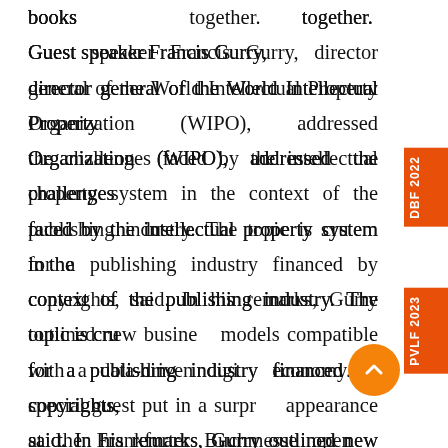books together. Guest speaker Francis Gurry, director general of the World Intellectual Property Organization (WIPO), addressed the challenges faced by the intellectual property system in the context of the publishing industry. The topic is crucial for a publishing industry financed by copyrights, he said. In his remarks, Gurry outlined new business models compatible with a data-driven digital economy. A special guest put in a surprise appearance at the Frankfurter Buchmesse opening press conference: Olga Tokarczuk, recipient of the 2018 Nobel Prize in Literature, who spoke about the political responsibility that authors have. In her novels, the Polish author addresses the after-effects of European and Jewish history, a topic that